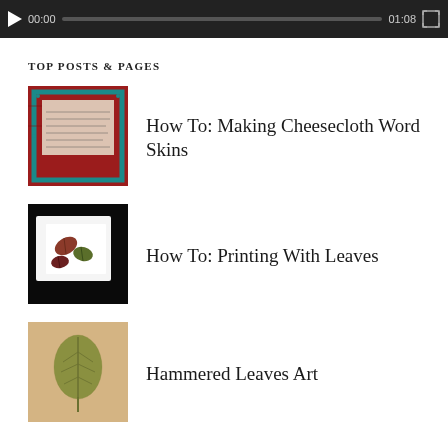[Figure (screenshot): Video player bar showing play button, time 00:00, progress track, end time 01:08, and fullscreen button on dark background]
TOP POSTS & PAGES
[Figure (photo): Red quilted fabric with handwritten text and teal decorative border]
How To: Making Cheesecloth Word Skins
[Figure (photo): Leaf prints on white paper against black background]
How To: Printing With Leaves
[Figure (photo): Hammered golden-green leaf art on light background]
Hammered Leaves Art